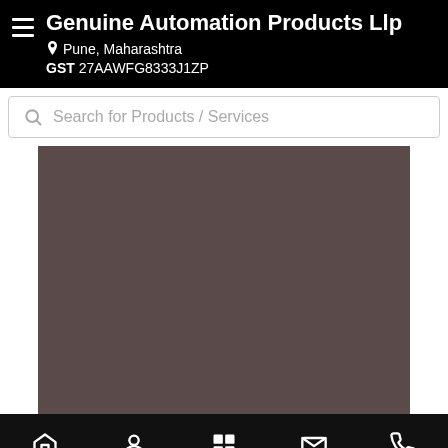Genuine Automation Products Llp
Pune, Maharashtra
GST 27AAWFG8333J1ZP
Search for Products / Services
[Figure (screenshot): Dark brownish-gray rectangular content area representing a product image or placeholder.]
Home  Profile  Our Range  Contact Us  Call Us